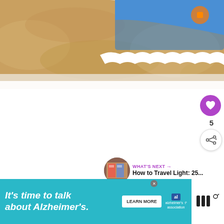[Figure (photo): Close-up photo of a blue running/athletic shoe sole pressed into sandy ground, with white sole visible, upper portion of shoe tread shown in top-right corner]
[Figure (other): Social interaction UI: purple heart/like button, count of 5, and a share button]
5
[Figure (other): What's Next promo: circular thumbnail of a clothing store, with text 'WHAT'S NEXT → How to Travel Light: 25...']
WHAT'S NEXT → How to Travel Light: 25...
[Figure (other): Advertisement banner: teal background, text 'It's time to talk about Alzheimer's.' with LEARN MORE button, Alzheimer's Association logo, and close (x) button. Right side shows brand logo with 'NN' marks.]